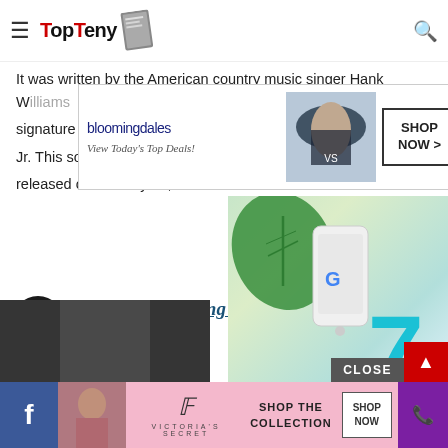TopTeny
It was written by the American country music singer Hank W... signature songs that were re... Jr. This song from the album... released on January 18, 1982...
[Figure (advertisement): Bloomingdales advertisement with logo, 'View Today's Top Deals!' tagline, a woman in a hat, and 'SHOP NOW >' button]
[Figure (advertisement): Google advertisement showing a phone, green leaf, and large teal number 7]
1. He Stopped Loving Her Today – George Jones
[Figure (photo): Bottom partial photo showing a dark curtain/background]
[Figure (advertisement): Victoria's Secret advertisement with 'SHOP THE COLLECTION' text and 'SHOP NOW' button]